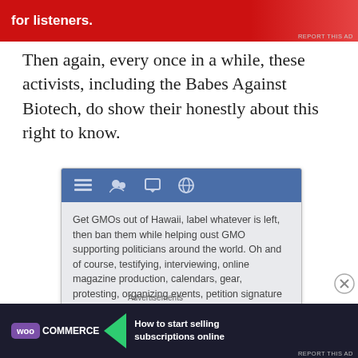[Figure (screenshot): Red advertisement banner at top with white text 'for listeners.']
Then again, every once in a while, these activists, including the Babes Against Biotech, do show their honestly about this right to know.
[Figure (screenshot): Mobile Facebook app screenshot showing a post: 'Get GMOs out of Hawaii, label whatever is left, then ban them while helping oust GMO supporting politicians around the world. Oh and of course, testifying, interviewing, online magazine production, calendars, gear, protesting, organizing events, petition signature gathering, non-GMO events and of course, Bros Against Biotech coming 2014.']
Advertisements
[Figure (screenshot): WooCommerce advertisement banner: 'How to start selling subscriptions online']